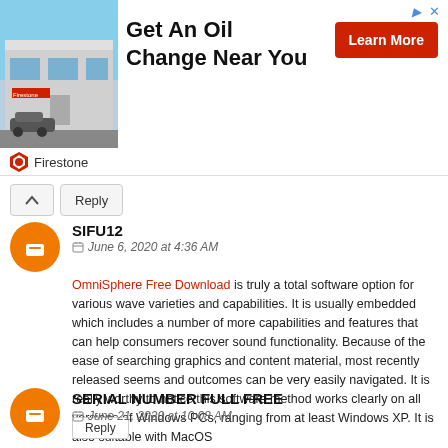[Figure (infographic): Firestone advertisement banner: Get An Oil Change Near You with Learn More button]
Reply
SIFU12
June 6, 2020 at 4:36 AM
OmniSphere Free Download is truly a total software option for various wave varieties and capabilities. It is usually embedded which includes a number of more capabilities and features that can help consumers recover sound functionality. Because of the ease of searching graphics and content material, most recently released seems and outcomes can be very easily navigated. It is really worthy to notice this software method works clearly on all versions of Windows PCs, ranging from at least Windows XP. It is also suitable with MacOS
Reply
SERIAL NUMBER FULL FREE
June 21, 2020 at 10:08 AM